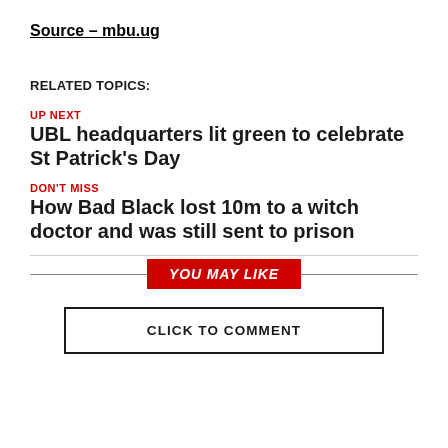Source – mbu.ug
RELATED TOPICS:
UP NEXT
UBL headquarters lit green to celebrate St Patrick's Day
DON'T MISS
How Bad Black lost 10m to a witch doctor and was still sent to prison
YOU MAY LIKE
CLICK TO COMMENT